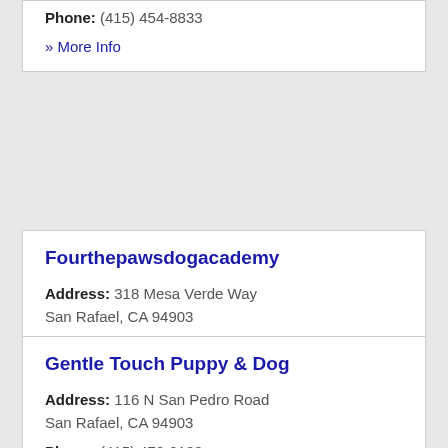Phone: (415) 454-8833
» More Info
Fourthepawsdogacademy
Address: 318 Mesa Verde Way
San Rafael, CA 94903
Phone: (415) 686-8929
» More Info
Gentle Touch Puppy & Dog
Address: 116 N San Pedro Road
San Rafael, CA 94903
Phone: (415) 472-0138